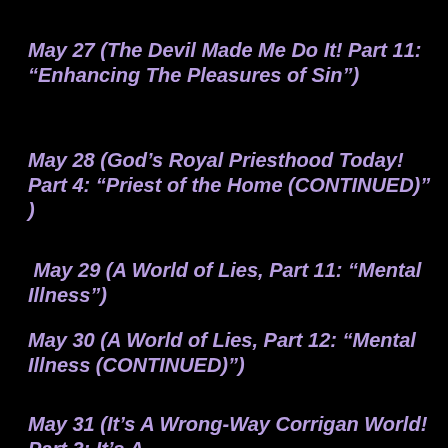May 27 (The Devil Made Me Do It! Part 11: “Enhancing The Pleasures of Sin”)
May 28 (God’s Royal Priesthood Today! Part 4: “Priest of the Home (CONTINUED)” )
May 29 (A World of Lies, Part 11: “Mental Illness”)
May 30 (A World of Lies, Part 12: “Mental Illness (CONTINUED)”)
May 31 (It’s A Wrong-Way Corrigan World! Part 3: It’s A